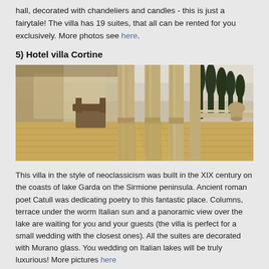hall, decorated with chandeliers and candles - this is just a fairytale! The villa has 19 suites, that all can be rented for you exclusively. More photos see here.
5) Hotel villa Cortine
[Figure (photo): Exterior terrace of Hotel Villa Cortine with classical stone columns, wooden flooring, chairs, balustrade and cypress trees in background under warm Italian sunlight]
This villa in the style of neoclassicism was built in the XIX century on the coasts of lake Garda on the Sirmione peninsula. Ancient roman poet Catull was dedicating poetry to this fantastic place. Columns, terrace under the worm Italian sun and a panoramic view over the lake are waiting for you and your guests (the villa is perfect for a small wedding with the closest ones). All the suites are decorated with Murano glass. You wedding on Italian lakes will be truly luxurious! More pictures here